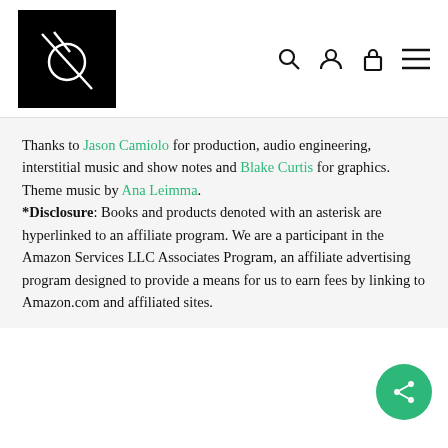[Figure (logo): Black square logo with a white circle crossed by two diagonal lines (stylized symbol)]
Thanks to Jason Camiolo for production, audio engineering, interstitial music and show notes and Blake Curtis for graphics. Theme music by Ana Leimma. *Disclosure: Books and products denoted with an asterisk are hyperlinked to an affiliate program. We are a participant in the Amazon Services LLC Associates Program, an affiliate advertising program designed to provide a means for us to earn fees by linking to Amazon.com and affiliated sites.